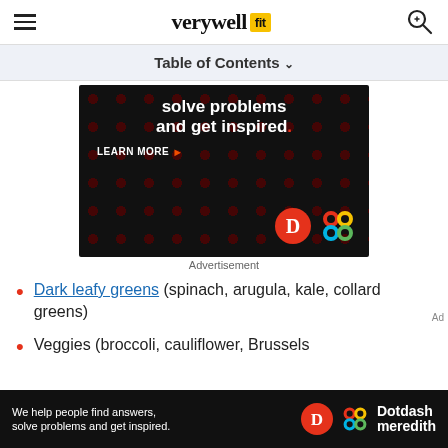verywell fit
Table of Contents
[Figure (photo): Advertisement banner: dark background with red dot pattern, white text reading 'solve problems and get inspired.' with 'LEARN MORE' button and Dotdash Meredith logos]
Advertisement
Dark leafy greens (spinach, arugula, kale, collard greens)
Veggies (broccoli, cauliflower, Brussels
[Figure (screenshot): Bottom banner ad: 'We help people find answers, solve problems and get inspired.' with Dotdash Meredith logo]